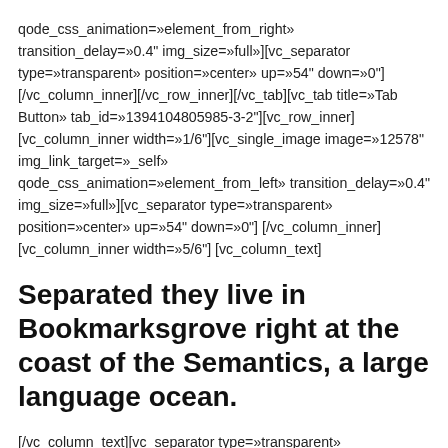qode_css_animation=»element_from_right» transition_delay=»0.4" img_size=»full»][vc_separator type=»transparent» position=»center» up=»54" down=»0"] [/vc_column_inner][/vc_row_inner][/vc_tab][vc_tab title=»Tab Button» tab_id=»1394104805985-3-2"][vc_row_inner] [vc_column_inner width=»1/6"][vc_single_image image=»12578" img_link_target=»_self» qode_css_animation=»element_from_left» transition_delay=»0.4" img_size=»full»][vc_separator type=»transparent» position=»center» up=»54" down=»0"] [/vc_column_inner][vc_column_inner width=»5/6"] [vc_column_text]
Separated they live in Bookmarksgrove right at the coast of the Semantics, a large language ocean.
[/vc_column_text][vc_separator type=»transparent» position=»center» up=»10" down=»2"][vc_column_text]A